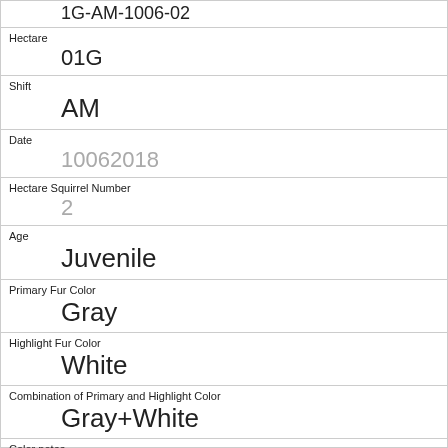1G-AM-1006-02
Hectare
01G
Shift
AM
Date
10062018
Hectare Squirrel Number
2
Age
Juvenile
Primary Fur Color
Gray
Highlight Fur Color
White
Combination of Primary and Highlight Color
Gray+White
Color notes
Location
Above Ground